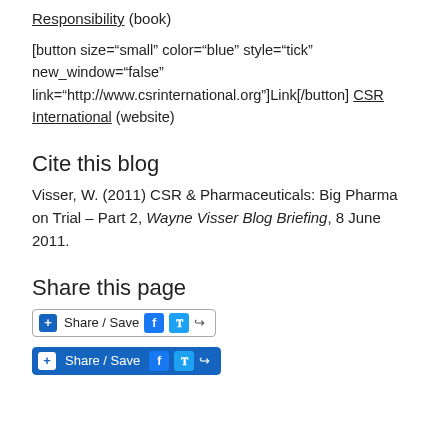Responsibility (book)
[button size="small" color="blue" style="tick" new_window="false" link="http://www.csrinternational.org"]Link[/button] CSR International (website)
Cite this blog
Visser, W. (2011) CSR & Pharmaceuticals: Big Pharma on Trial – Part 2, Wayne Visser Blog Briefing, 8 June 2011.
Share this page
[Figure (screenshot): Two Share/Save buttons with Facebook and Twitter icons]